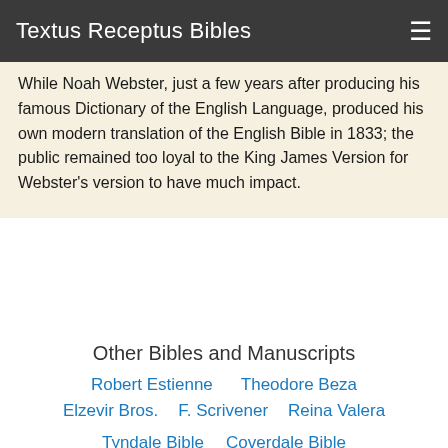Textus Receptus Bibles
While Noah Webster, just a few years after producing his famous Dictionary of the English Language, produced his own modern translation of the English Bible in 1833; the public remained too loyal to the King James Version for Webster's version to have much impact.
Other Bibles and Manuscripts
Robert Estienne
Theodore Beza
Elzevir Bros.
F. Scrivener
Reina Valera
Tyndale Bible
Coverdale Bible
Matthew's Bible
Great Bible